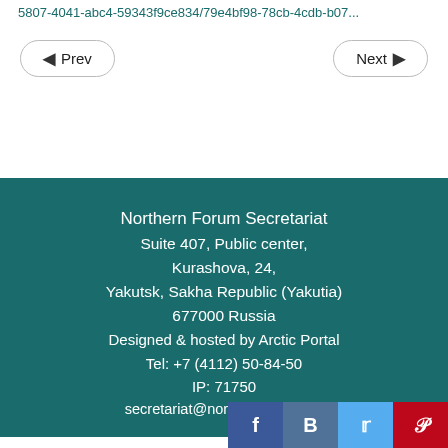5807-4041-abc4-59343f9ce834/79e4bf98-78cb-4cdb-b07...
◄ Prev    Next ►
Northern Forum Secretariat
Suite 407, Public center,
Kurashova, 24,
Yakutsk, Sakha Republic (Yakutia)
677000 Russia

Designed & hosted by Arctic Portal

Tel: +7 (4112) 50-84-50
IP: 71750
secretariat@northernforum.org